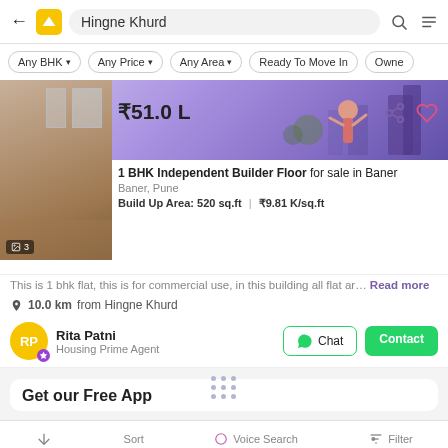Hingne Khurd
Any BHK
Any Price
Any Area
Ready To Move In
Owner
[Figure (photo): Interior photo of a room with windows and floor visible, plus a purple illustrated banner showing a person with buildings]
₹51.0 L
1 BHK Independent Builder Floor for sale in Baner
Baner, Pune
Build Up Area: 520 sq.ft  |  ₹9.81 K/sq.ft
This is 1 bhk flat, this is for commercial use, in this building all flat ar… Read more
10.0 km from Hingne Khurd
Rita Patni
Housing Prime Agent
Get our Free App
Voice Search